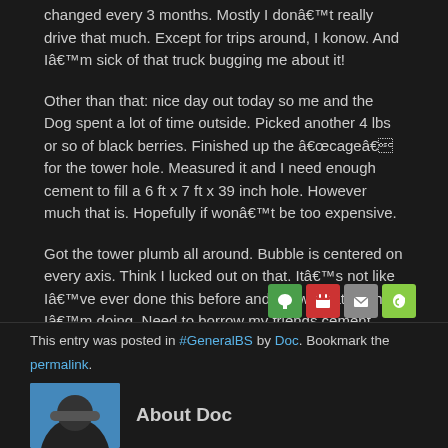changed every 3 months. Mostly I don't really drive that much. Except for trips around, I konow. And I'm sick of that truck bugging me about it!
Other than that: nice day out today so me and the Dog spent a lot of time outside. Picked another 4 lbs or so of black berries. Finished up the “cage” for the tower hole. Measured it and I need enough cement to fill a 6 ft x 7 ft x 39 inch hole. However much that is. Hopefully if won’t be too expensive.
Got the tower plumb all around. Bubble is centered on every axis. Think I lucked out on that. It’s not like I’ve ever done this before and know what the hell I’m doing. Need to borrow my friends cement shaker thingie for when I have cement delivered.
Watching Hurricane Harvey on youtube.
[Figure (illustration): Four small social sharing icon buttons: green cloud icon, red calendar icon, gray envelope icon, green leaf icon]
This entry was posted in #GeneralBS by Doc. Bookmark the permalink.
About Doc